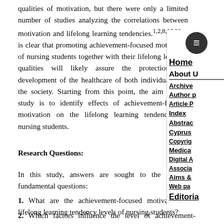qualities of motivation, but there were only a limited number of studies analyzing the correlations between motivation and lifelong learning tendencies.1,2,8,12,13 It is clear that promoting achievement-focused motivation of nursing students together with their lifelong learning qualities will likely assure the protection and development of the healthcare of both individuals and the society. Starting from this point, the aim of this study is to identify effects of achievement-focused motivation on the lifelong learning tendencies of nursing students.
Research Questions:
In this study, answers are sought to the following fundamental questions:
1. What are the achievement-focused motivation and lifelong learning tendency levels of nursing students?
2. Which factors influence the level of achievement-focused motivation and lifelong learning trends in nursing students?